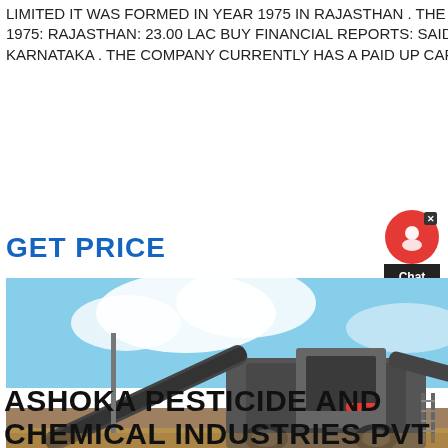LIMITED IT WAS FORMED IN YEAR 1975 IN RAJASTHAN . THE COMPANY CURRENTLY HAS A PAID UP CAPITAL OF INR 23.00 LAC. 1975: RAJASTHAN: 23.00 LAC BUY FINANCIAL REPORTS: SAIDIP COATINGS PRIVATE LIMITED IT WAS FORMED IN YEAR 2001 IN KARNATAKA . THE COMPANY CURRENTLY HAS A PAID UP CAPITAL OF INR 23.00 LAC.
GET PRICE
[Figure (photo): Industrial heavy machinery / crushing plant equipment outdoors with blue sky background and sandy ground]
ASHOKA PESTICIDE AND CHEMICAL INDUSTRIES PVT LTD